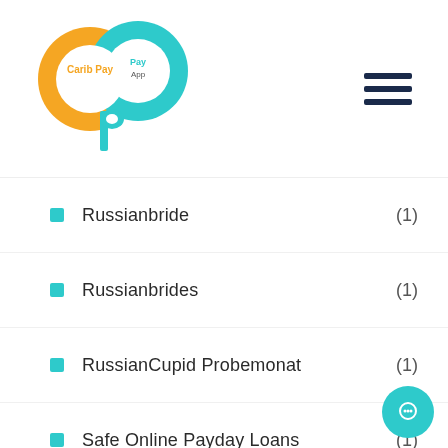Carib Pay App
Russianbride (1)
Russianbrides (1)
RussianCupid Probemonat (1)
Safe Online Payday Loans (1)
Same Day Online Payday Loans (4)
Same Day Payday Loan (4)
Same Day Payday Loan Online (1)
Same Day Payday Loans (1)
Same Day Title Loans In New Jersey (1)
Sameday Payday Loans Online (1)
Secretpartnersuche.De Mobile Seite (1)